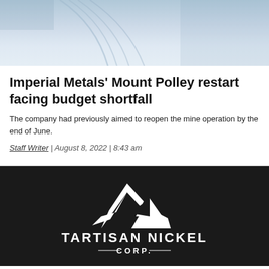[Figure (photo): Aerial or ground-level photo of snowy landscape with ski or vehicle tracks in the snow]
Imperial Metals' Mount Polley restart facing budget shortfall
The company had previously aimed to reopen the mine operation by the end of June.
Staff Writer | August 8, 2022 | 8:43 am
[Figure (logo): Tartisan Nickel Corp. logo — white mountain/geometric icon on dark background with company name in white capital letters]